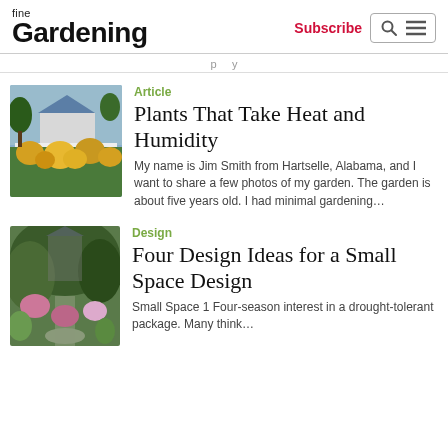fine Gardening | Subscribe
...p...y...
Article
Plants That Take Heat and Humidity
My name is Jim Smith from Hartselle, Alabama, and I want to share a few photos of my garden. The garden is about five years old. I had minimal gardening...
Design
Four Design Ideas for a Small Space Design
Small Space 1 Four-season interest in a drought-tolerant package. Many think...